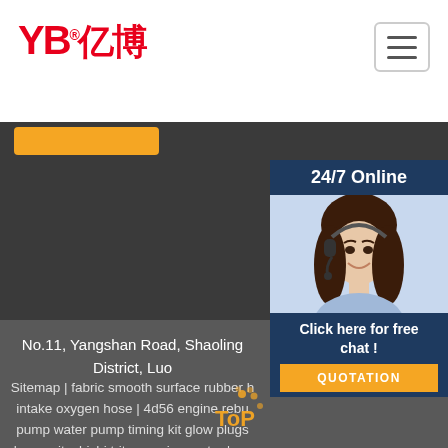YB亿博® logo and navigation header
[Figure (screenshot): Dark hero banner section with orange button]
[Figure (photo): 24/7 Online customer service agent photo with headset, smiling woman]
No.11, Yangshan Road, Shaoling District, Luoyang Province, China
Sitemap | fabric smooth surface rubber hose | intake oxygen hose | 4d56 engine rebuild kit pump water pump timing kit glow plugs | hose mitsubishi triton engine motor | wp 20bar 2021 1 4 -2 iso 20bar compressor cng rubber air hose manufacturer high quality epdm rubber reinforced air water hose
Click here for free chat !
QUOTATION